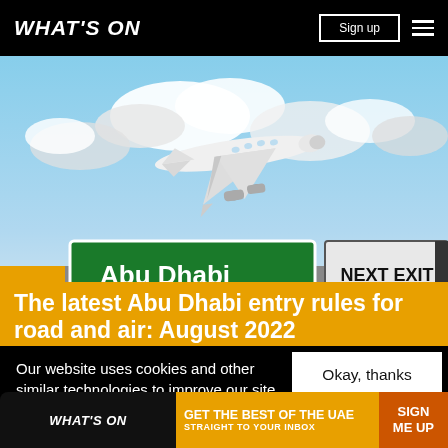WHAT'S ON
[Figure (photo): Airplane flying above highway signs showing 'Abu Dhabi Airport' and 'NEXT EXIT' against a cloudy blue sky]
The latest Abu Dhabi entry rules for road and air: August 2022
Our website uses cookies and other similar technologies to improve our site and your online experience. By continuing to use our website you conse... our pr...
Okay, thanks
[Figure (infographic): Bottom ad banner: WHAT'S ON logo, 'GET THE BEST OF THE UAE STRAIGHT TO YOUR INBOX', 'SIGN ME UP' button]